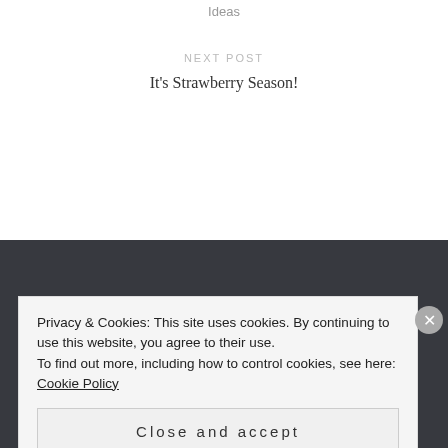Ideas
NEXT POST
It's Strawberry Season!
Joanne Rowly
Privacy & Cookies: This site uses cookies. By continuing to use this website, you agree to their use.
To find out more, including how to control cookies, see here: Cookie Policy
Close and accept